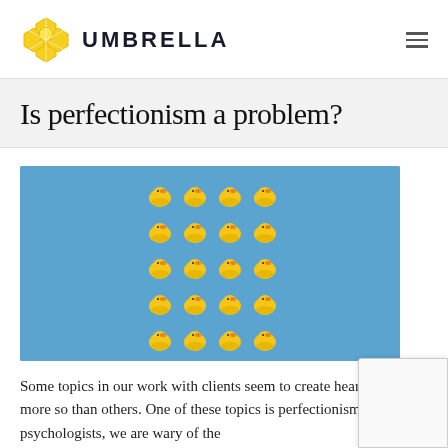UMBRELLA
Is perfectionism a problem?
[Figure (photo): Blue background with a 4x5 grid of yellow rubber ducks arranged in rows]
Some topics in our work with clients seem to create hearty debate more so than others. One of these topics is perfectionism. As psychologists, we are wary of the